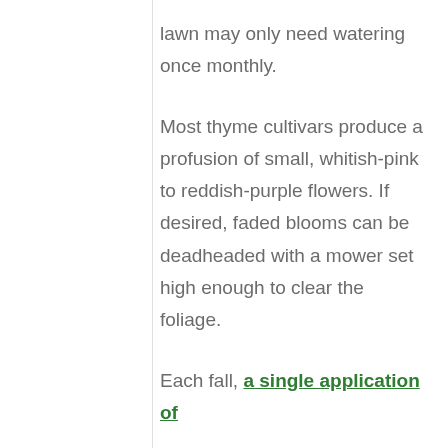lawn may only need watering once monthly.
Most thyme cultivars produce a profusion of small, whitish-pink to reddish-purple flowers. If desired, faded blooms can be deadheaded with a mower set high enough to clear the foliage.
Each fall, a single application of fertilizer...